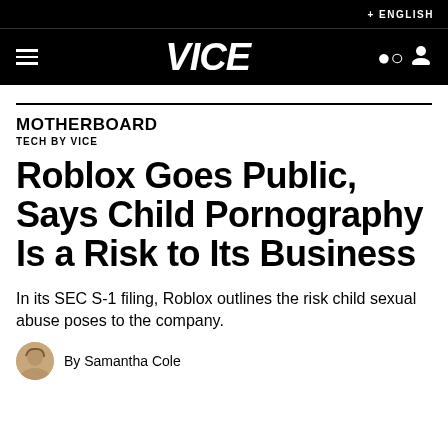+ ENGLISH
[Figure (logo): VICE logo in white italic bold text on black navigation bar]
MOTHERBOARD
TECH BY VICE
Roblox Goes Public, Says Child Pornography Is a Risk to Its Business
In its SEC S-1 filing, Roblox outlines the risk child sexual abuse poses to the company.
By Samantha Cole